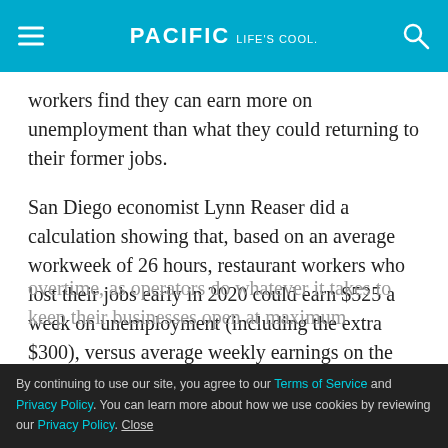PACIFIC Life's cool.
workers find they can earn more on unemployment than what they could returning to their former jobs.
San Diego economist Lynn Reaser did a calculation showing that, based on an average workweek of 26 hours, restaurant workers who lost their jobs early in 2020 could earn $525 a week on unemployment (including the extra $300), versus average weekly earnings on the job of $452. Of course, many in the industry are now working more hours, including overtime, as operators do whatever it takes to keep their businesses open at maximum capacity.
By continuing to use our site, you agree to our Terms of Service and Privacy Policy. You can learn more about how we use cookies by reviewing our Privacy Policy. Close